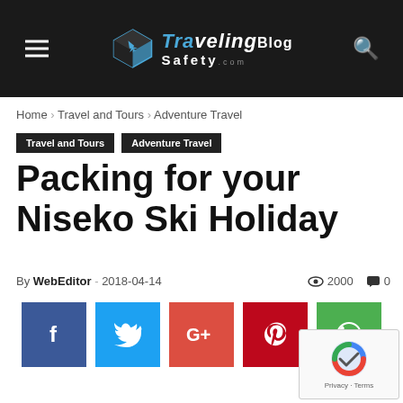TravelingSafety.com Blog
Home › Travel and Tours › Adventure Travel
Travel and Tours  Adventure Travel
Packing for your Niseko Ski Holiday
By WebEditor - 2018-04-14  2000  0
[Figure (infographic): Social media sharing buttons: Facebook (dark blue), Twitter (light blue), Google+ (red), Pinterest (red), WhatsApp (green)]
[Figure (other): reCAPTCHA badge with Privacy and Terms links]